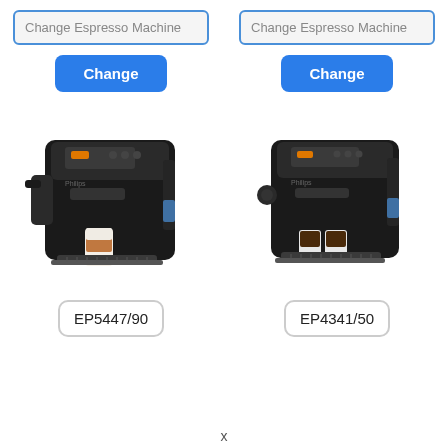Change Espresso Machine
Change Espresso Machine
Change
Change
[Figure (photo): Philips EP5447/90 fully automatic espresso machine in black, shown with a latte macchiato in a tall glass on the drip tray]
[Figure (photo): Philips EP4341/50 fully automatic espresso machine in black, shown with two espresso cups on the drip tray]
EP5447/90
EP4341/50
x